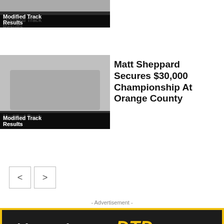[Figure (screenshot): Partial thumbnail for first article with 'Modified Track Results' label overlay]
Modified Track Results
[Figure (photo): Thumbnail image for racing article with 'Modified Track Results' label overlay]
Modified Track Results
Matt Sheppard Secures $30,000 Championship At Orange County
[Figure (other): Navigation previous button (<)]
[Figure (other): Navigation next button (>)]
- Advertisement -
[Figure (illustration): DTD TV advertisement banner showing 'This Week On DTD TV DIRTTRACKDIGEST.TV' top section, 'Friday, August 26th' middle section, and logos for Albany Saratoga Speedway and Big Diamond racing venues on dark background with yellow border.]